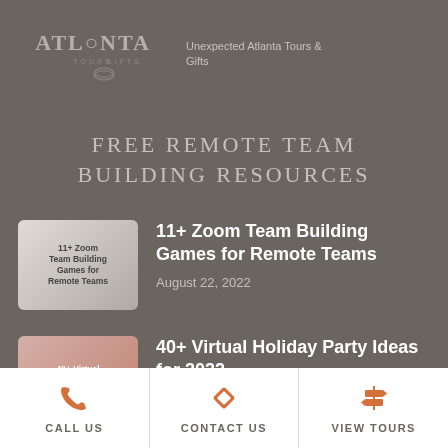[Figure (logo): Unexpected Atlanta Tours & Gifts logo with stylized text ATLANTA, TOURS GIFTS]
Unexpected Atlanta Tours & Gifts
FREE REMOTE TEAM BUILDING RESOURCES
[Figure (photo): Thumbnail image for article: 11+ Zoom Team Building Games for Remote Teams]
11+ Zoom Team Building Games for Remote Teams
August 22, 2022
[Figure (photo): Thumbnail image for article: 40+ Virtual Holiday Party Ideas for 2022]
40+ Virtual Holiday Party Ideas for 2022
August 22, 2022
CALL US   CONTACT US   VIEW TOURS